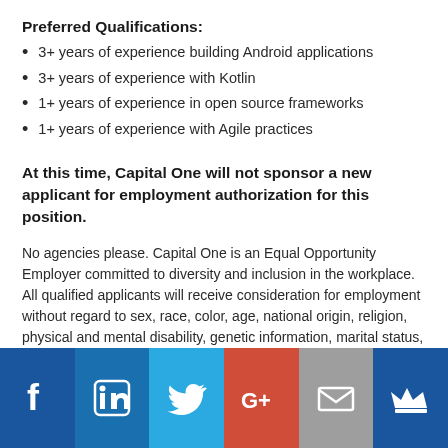Preferred Qualifications:
3+ years of experience building Android applications
3+ years of experience with Kotlin
1+ years of experience in open source frameworks
1+ years of experience with Agile practices
At this time, Capital One will not sponsor a new applicant for employment authorization for this position.
No agencies please. Capital One is an Equal Opportunity Employer committed to diversity and inclusion in the workplace. All qualified applicants will receive consideration for employment without regard to sex, race, color, age, national origin, religion, physical and mental disability, genetic information, marital status, sexual orientation, gender identity/assignment, citizenship, pregnancy or maternity,
[Figure (illustration): Social media icon bar at the bottom with Facebook, LinkedIn, Twitter, Google+, Email, and Crown/King icons on colored backgrounds]